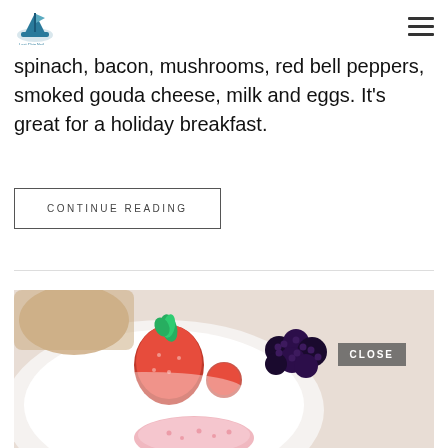[Logo: Last Chip Nail of the Dishes] [Hamburger menu icon]
spinach, bacon, mushrooms, red bell peppers, smoked gouda cheese, milk and eggs. It’s great for a holiday breakfast.
CONTINUE READING
[Figure (photo): Photo of a white bowl with fresh strawberries, blackberries, and raspberries, with a pink sugared candy or gummy in the foreground, and a baked item visible at the top left. A 'CLOSE' badge is overlaid at the bottom right.]